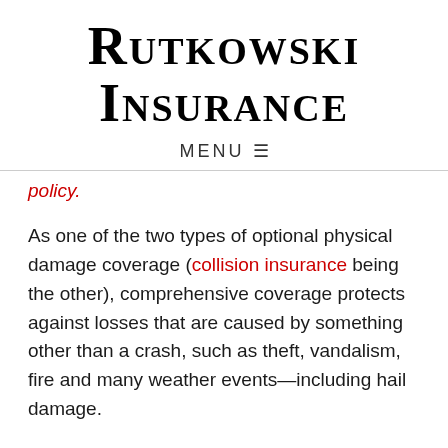Rutkowski Insurance
MENU ≡
policy.
As one of the two types of optional physical damage coverage (collision insurance being the other), comprehensive coverage protects against losses that are caused by something other than a crash, such as theft, vandalism, fire and many weather events—including hail damage.